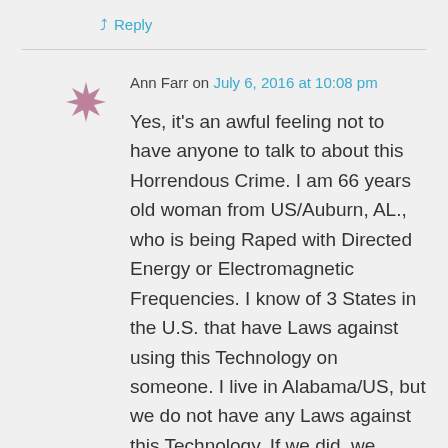↳ Reply
Ann Farr on July 6, 2016 at 10:08 pm
Yes, it's an awful feeling not to have anyone to talk to about this Horrendous Crime. I am 66 years old woman from US/Auburn, AL., who is being Raped with Directed Energy or Electromagnetic Frequencies. I know of 3 States in the U.S. that have Laws against using this Technology on someone. I live in Alabama/US, but we do not have any Laws against this Technology. If we did, we could at